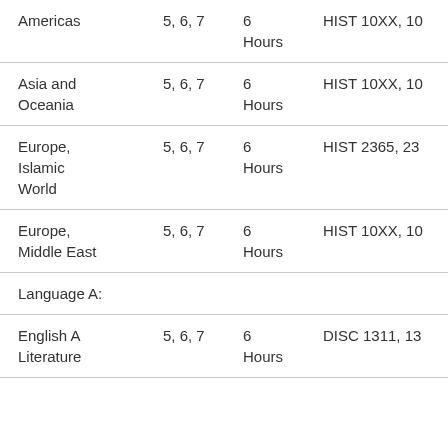| Subject | Grades | Credit | Courses |
| --- | --- | --- | --- |
| Americas | 5, 6, 7 | 6 Hours | HIST 10XX, 10… |
| Asia and Oceania | 5, 6, 7 | 6 Hours | HIST 10XX, 10… |
| Europe, Islamic World | 5, 6, 7 | 6 Hours | HIST 2365, 23… |
| Europe, Middle East | 5, 6, 7 | 6 Hours | HIST 10XX, 10… |
| Language A: |  |  |  |
| English A Literature | 5, 6, 7 | 6 Hours | DISC 1311, 13… |